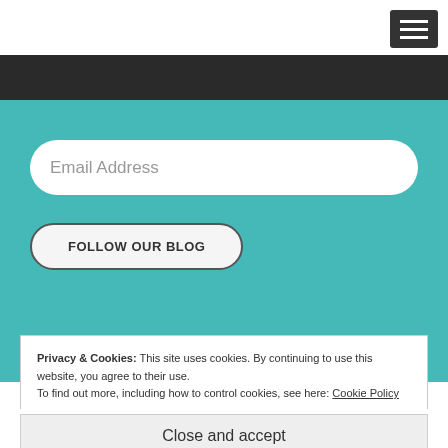[Figure (screenshot): Navigation hamburger menu button - three horizontal white lines on dark background]
[Figure (screenshot): Teal/turquoise email subscribe section with email address input field and 'FOLLOW OUR BLOG' button]
Privacy & Cookies: This site uses cookies. By continuing to use this website, you agree to their use.
To find out more, including how to control cookies, see here: Cookie Policy
Close and accept